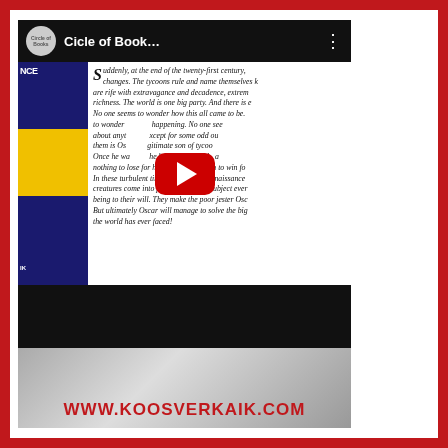[Figure (screenshot): YouTube-style video embed showing a book cover on the left and italic text description of the book on the right, with a red play button overlay. Channel name 'Cicle of Book...' shown in header.]
Suddenly, at the end of the twenty-first century, changes. The tycoons rule and name themselves k... are rife with extravagance and decadence, extrem... richness. The world is one big party. And there is ... No one seems to wonder how this all came to be. to wonder ... happening. No one se... about anyt... xcept for some odd ou... them is Os... gitimate son of tycoon... Once he wa... he became a pariah, a... nothing to lose for himself and so much to win for... In these turbulent times, the Second Renaissance... creatures come into power and try to subject ever... being to their will. They make the poor jester Osc... But ultimately Oscar will manage to solve the big... the world has ever faced!
[Figure (screenshot): Partial image of a room or vehicle interior with the text WWW.KOOSVERKAIK.COM displayed in bold red letters at the bottom.]